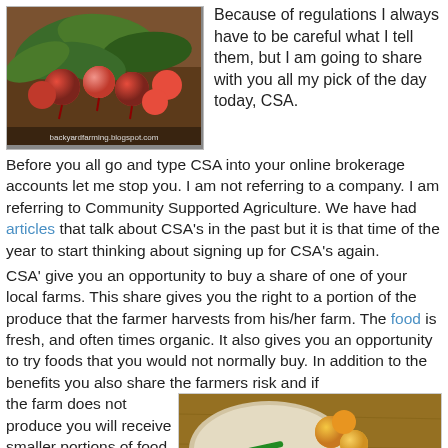[Figure (photo): Photo of red radishes with green leaves on a table, with watermark 'backyardfarming.blogspot.com']
Because of regulations I always have to be careful what I tell them, but I am going to share with you all my pick of the day today, CSA.
Before you all go and type CSA into your online brokerage accounts let me stop you. I am not referring to a company. I am referring to Community Supported Agriculture. We have had articles that talk about CSA's in the past but it is that time of the year to start thinking about signing up for CSA's again.
CSA' give you an opportunity to buy a share of one of your local farms. This share gives you the right to a portion of the produce that the farmer harvests from his/her farm. The food is fresh, and often times organic. It also gives you an opportunity to try foods that you would not normally buy. In addition to the benefits you also share the farmers risk and if the farm does not produce you will receive smaller portions of food.
[Figure (photo): Photo of a CSA basket with green beans, yellow/orange tomatoes, and a dark zucchini on a wooden table]